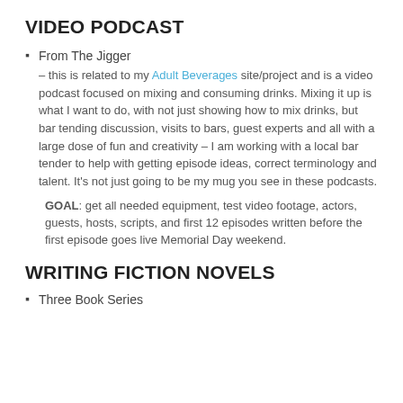VIDEO PODCAST
From The Jigger – this is related to my Adult Beverages site/project and is a video podcast focused on mixing and consuming drinks. Mixing it up is what I want to do, with not just showing how to mix drinks, but bar tending discussion, visits to bars, guest experts and all with a large dose of fun and creativity – I am working with a local bar tender to help with getting episode ideas, correct terminology and talent. It's not just going to be my mug you see in these podcasts.
GOAL: get all needed equipment, test video footage, actors, guests, hosts, scripts, and first 12 episodes written before the first episode goes live Memorial Day weekend.
WRITING FICTION NOVELS
Three Book Series